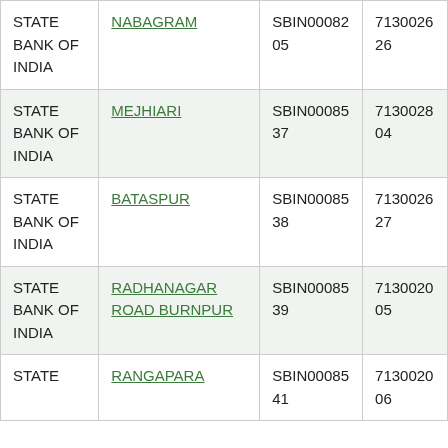| STATE BANK OF INDIA | NABAGRAM | SBIN0008205 | 713002626 |
| STATE BANK OF INDIA | MEJHIARI | SBIN0008537 | 713002804 |
| STATE BANK OF INDIA | BATASPUR | SBIN0008538 | 713002627 |
| STATE BANK OF INDIA | RADHANAGAR ROAD BURNPUR | SBIN0008539 | 713002005 |
| STATE BANK OF INDIA | RANGAPARA | SBIN0008541 | 713002006 |